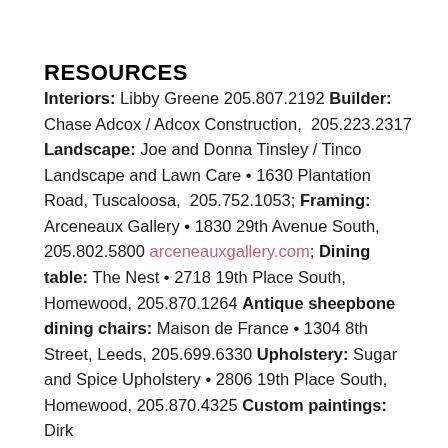RESOURCES
Interiors: Libby Greene 205.807.2192 Builder: Chase Adcox / Adcox Construction, 205.223.2317 Landscape: Joe and Donna Tinsley / Tinco Landscape and Lawn Care • 1630 Plantation Road, Tuscaloosa, 205.752.1053; Framing: Arceneaux Gallery • 1830 29th Avenue South, 205.802.5800 arceneauxgallery.com; Dining table: The Nest • 2718 19th Place South, Homewood, 205.870.1264 Antique sheepbone dining chairs: Maison de France • 1304 8th Street, Leeds, 205.699.6330 Upholstery: Sugar and Spice Upholstery • 2806 19th Place South, Homewood, 205.870.4325 Custom paintings: Dirk